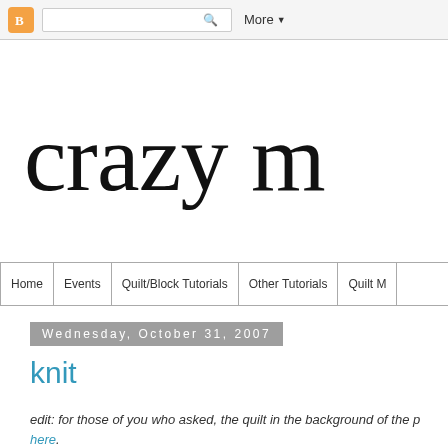Blogger navigation bar with search and More button
crazy m
Home | Events | Quilt/Block Tutorials | Other Tutorials | Quilt M
Wednesday, October 31, 2007
knit
edit: for those of you who asked, the quilt in the background of the p here.